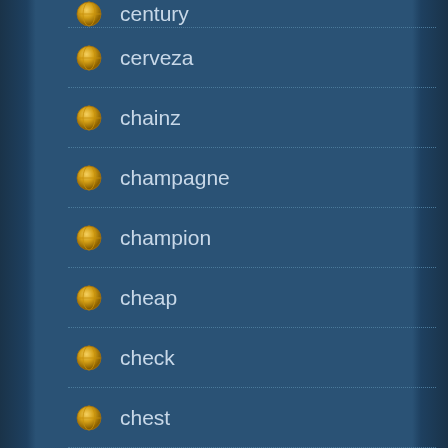century
cerveza
chainz
champagne
champion
cheap
check
chest
chevrolet
chiller
chris
chrome
cigar
clash
classic